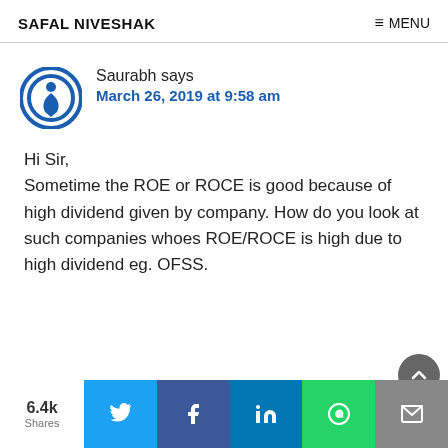SAFAL NIVESHAK   ≡ MENU
Saurabh says
March 26, 2019 at 9:58 am
Hi Sir,
Sometime the ROE or ROCE is good because of high dividend given by company. How do you look at such companies whoes ROE/ROCE is high due to high dividend eg. OFSS.
6.4k Shares